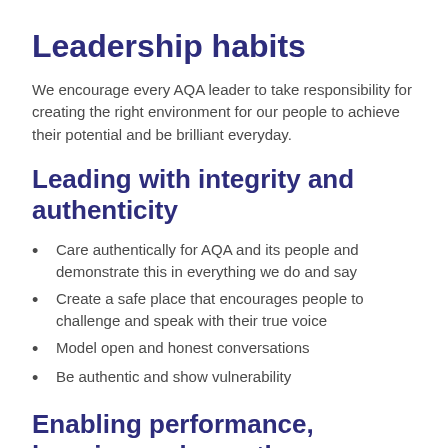Leadership habits
We encourage every AQA leader to take responsibility for creating the right environment for our people to achieve their potential and be brilliant everyday.
Leading with integrity and authenticity
Care authentically for AQA and its people and demonstrate this in everything we do and say
Create a safe place that encourages people to challenge and speak with their true voice
Model open and honest conversations
Be authentic and show vulnerability
Enabling performance, learning and growth